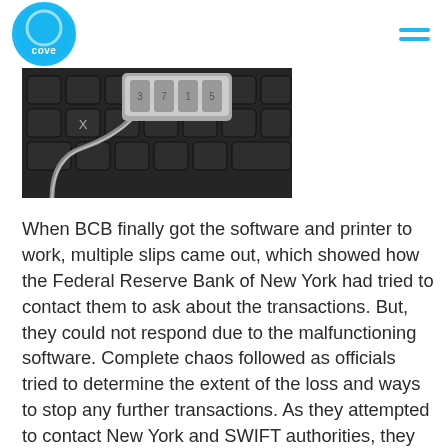cove
[Figure (photo): Close-up photo of a computer keyboard with a combination lock/padlock resting on the keys, suggesting cybersecurity or hacking theme. Dark keyboard with visible keys including the X key, with a metallic chain and combination lock in the upper right area.]
When BCB finally got the software and printer to work, multiple slips came out, which showed how the Federal Reserve Bank of New York had tried to contact them to ask about the transactions. But, they could not respond due to the malfunctioning software. Complete chaos followed as officials tried to determine the extent of the loss and ways to stop any further transactions. As they attempted to contact New York and SWIFT authorities, they understood just how well the entire heist was planned. Since it was a weekend in the United States, nobody responded from the other side